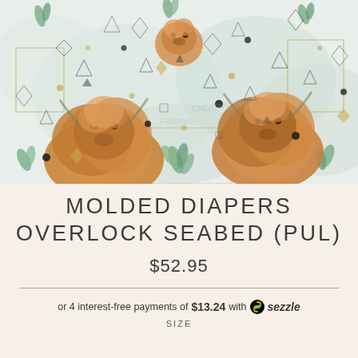[Figure (photo): Fabric pattern with watercolor highland cows/calves, green leaves, and geometric shapes (triangles, diamonds, squares) on a light background]
MOLDED DIAPERS OVERLOCK SEABED (PUL)
$52.95
or 4 interest-free payments of $13.24 with Sezzle
SIZE